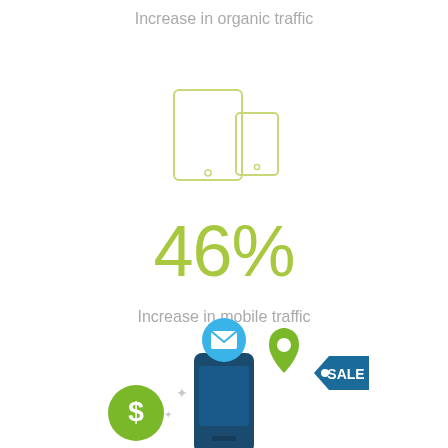Increase in organic traffic
[Figure (illustration): Line-art icon of a tablet and a smaller smartphone/tablet side by side, drawn in light yellow-green outline style]
46%
Increase in mobile traffic
[Figure (illustration): Marketing infographic illustration showing a smartphone with floating icons: a green dollar sign circle, a blue email/envelope circle, a green location pin, a teal SALE tag badge, and decorative star/sparkle elements]